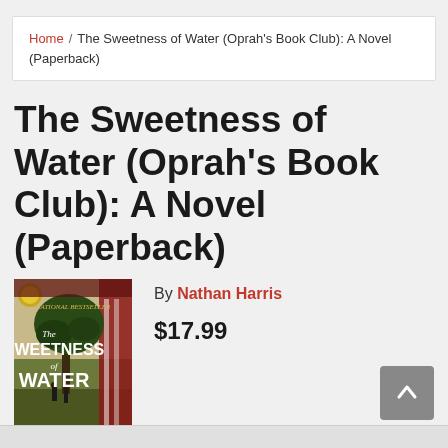Home / The Sweetness of Water (Oprah's Book Club): A Novel (Paperback)
The Sweetness of Water (Oprah's Book Club): A Novel (Paperback)
[Figure (photo): Book cover of 'The Sweetness of Water' by Nathan Harris, showing two figures walking under a large tree against a landscape background with earthy tones.]
By Nathan Harris
$17.99